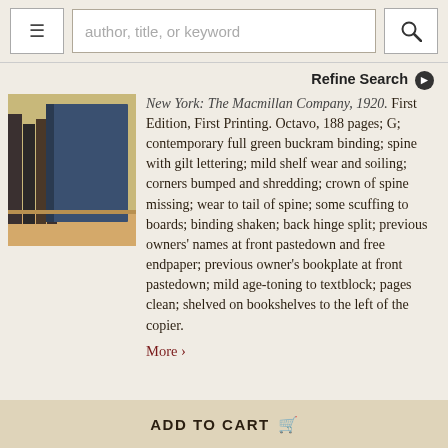author, title, or keyword [search bar with menu and search buttons]
Refine Search
[Figure (photo): Photo of a blue hardcover book on a wooden bookshelf with other books behind it]
New York: The Macmillan Company, 1920. First Edition, First Printing. Octavo, 188 pages; G; contemporary full green buckram binding; spine with gilt lettering; mild shelf wear and soiling; corners bumped and shredding; crown of spine missing; wear to tail of spine; some scuffing to boards; binding shaken; back hinge split; previous owners' names at front pastedown and free endpaper; previous owner's bookplate at front pastedown; mild age-toning to textblock; pages clean; shelved on bookshelves to the left of the copier.
More ›
ADD TO CART